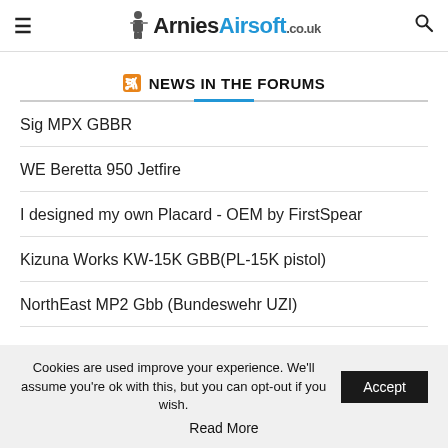ArniesAirsoft.co.uk
NEWS IN THE FORUMS
Sig MPX GBBR
WE Beretta 950 Jetfire
I designed my own Placard - OEM by FirstSpear
Kizuna Works KW-15K GBB(PL-15K pistol)
NorthEast MP2 Gbb (Bundeswehr UZI)
Cookies are used improve your experience. We'll assume you're ok with this, but you can opt-out if you wish. Accept
Read More